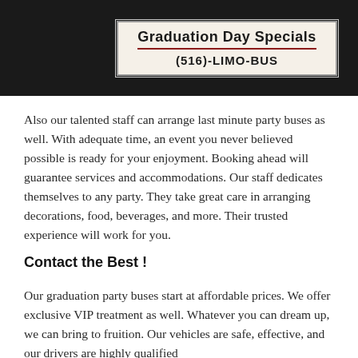[Figure (photo): Person in graduation gown holding a sign that reads 'Graduation Day Specials' with '(516)-LIMO-BUS' below it, on a dark background.]
Also our talented staff can arrange last minute party buses as well. With adequate time, an event you never believed possible is ready for your enjoyment. Booking ahead will guarantee services and accommodations. Our staff dedicates themselves to any party. They take great care in arranging decorations, food, beverages, and more. Their trusted experience will work for you.
Contact the Best !
Our graduation party buses start at affordable prices. We offer exclusive VIP treatment as well. Whatever you can dream up, we can bring to fruition. Our vehicles are safe, effective, and our drivers are highly qualified